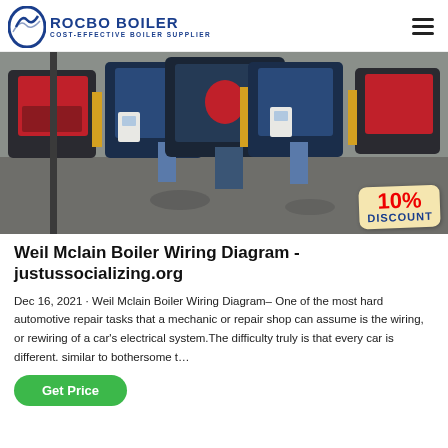ROCBO BOILER COST-EFFECTIVE BOILER SUPPLIER
[Figure (photo): Industrial boilers lined up in a facility, with a 10% DISCOUNT badge overlay in the bottom right corner.]
Weil Mclain Boiler Wiring Diagram - justussocializing.org
Dec 16, 2021 · Weil Mclain Boiler Wiring Diagram– One of the most hard automotive repair tasks that a mechanic or repair shop can assume is the wiring, or rewiring of a car's electrical system.The difficulty truly is that every car is different. similar to bothersome t…
Get Price